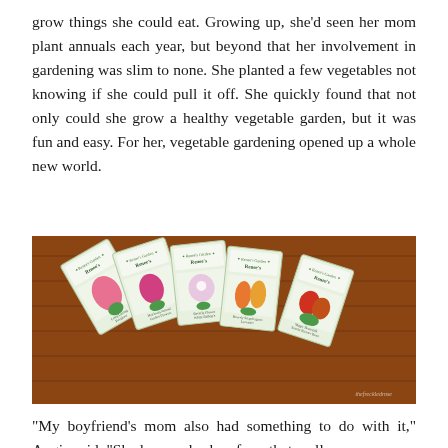grow things she could eat. Growing up, she'd seen her mom plant annuals each year, but beyond that her involvement in gardening was slim to none. She planted a few vegetables not knowing if she could pull it off. She quickly found that not only could she grow a healthy vegetable garden, but it was fun and easy. For her, vegetable gardening opened up a whole new world.
[Figure (photo): A fan of Renee's Garden seed packets spread out on a wooden deck surface, showing various flower and vegetable varieties with colorful illustrated covers.]
"My boyfriend's mom also had something to do with it," Angie said. "She has a suburban farm that really